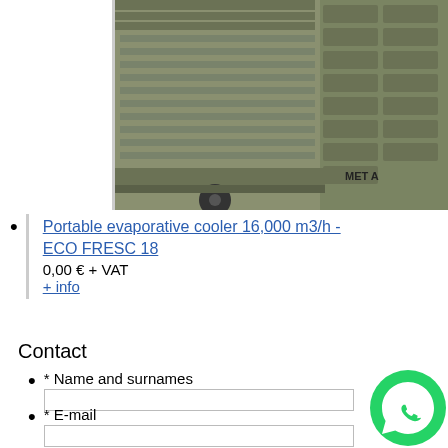[Figure (photo): Partial view of a portable evaporative cooler unit (olive/khaki colored box with ventilation grille, wheels visible at bottom, brand text 'MET A' partially visible), cropped at top and right edges.]
Portable evaporative cooler 16,000 m3/h - ECO FRESC 18
0,00 € + VAT
+ info
Contact
* Name and surnames
* E-mail